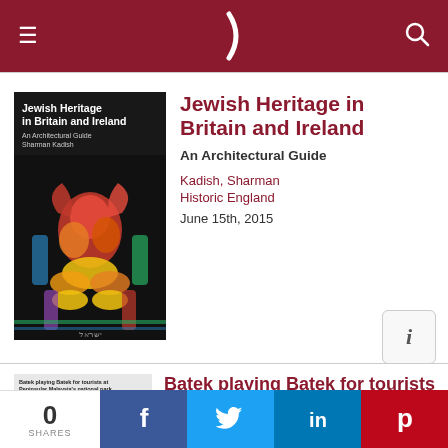≡  )  🔍
[Figure (photo): Book cover of 'Jewish Heritage in Britain and Ireland: An Architectural Guide' by Sharman Kadish, with a stained glass window image on the cover]
Jewish Heritage in Britain and Ireland
An Architectural Guide
Kadish, Sharman
Historic England
June 15th, 2015
[Figure (screenshot): Thumbnail of article page for 'Batek playing Batek for tourists at Peninsular Malaysia's national park']
Batek playing Batek for tourists at Peninsular Malaysia's national park
0 SHARES  f  t  in  p